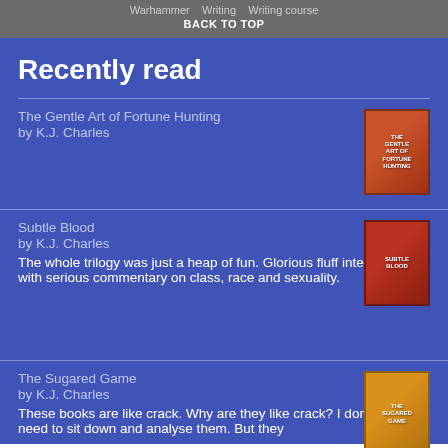Warhammer   Writing   Writing course
BACK TO TOP
Recently read
The Gentle Art of Fortune Hunting by K.J. Charles
Subtle Blood by K.J. Charles
The whole trilogy was just a heap of fun. Glorious fluff interspersed with serious commentary on class, race and sexuality.
The Sugared Game by K.J. Charles
These books are like crack. Why are they like crack? I don't know. I need to sit down and analyse them. But they